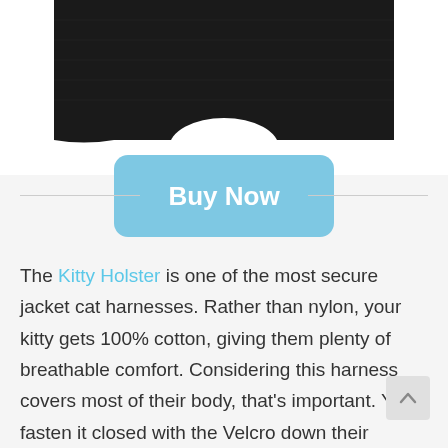[Figure (photo): Bottom portion of a black cat harness/jacket product shown from below against a white background]
Buy Now
The Kitty Holster is one of the most secure jacket cat harnesses. Rather than nylon, your kitty gets 100% cotton, giving them plenty of breathable comfort. Considering this harness covers most of their body, that's important. You fasten it closed with the Velcro down their tummy, connect the leash to the D-ring, and your cat's ready to go. You have four sizes t choose from and nine colors/patterns to p from. Best of all, it's completely machine